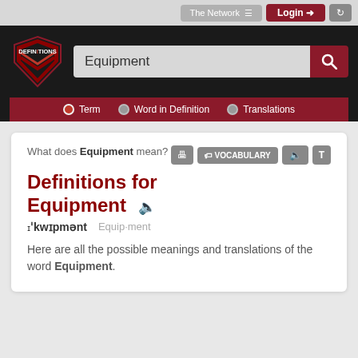[Figure (screenshot): Website header with DEFINITIONS logo/shield, search bar with 'Equipment' query, search button, and navigation tabs for Term, Word in Definition, Translations]
What does Equipment mean?
Definitions for Equipment
ɪˈkwɪpmənt   Equip·ment
Here are all the possible meanings and translations of the word Equipment.